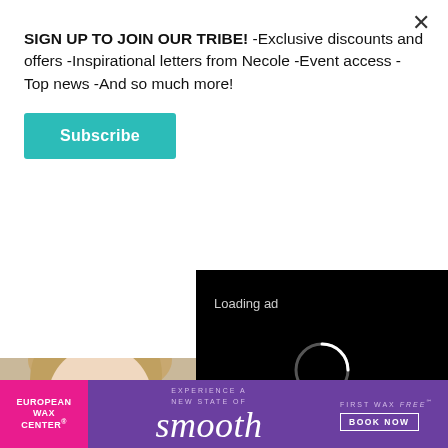SIGN UP TO JOIN OUR TRIBE! -Exclusive discounts and offers -Inspirational letters from Necole -Event access -Top news -And so much more!
Subscribe
[Figure (photo): Close-up photo of a young woman (Princess Diana) smiling, with short blonde hair]
[Figure (photo): Close-up photo of a bald man wearing tinted aviator sunglasses]
[Figure (screenshot): Video player overlay showing 'Loading ad' text with a loading spinner and video controls (pause, fullscreen, mute buttons) on a black background]
Inside Princess Diana's Life Was Like Before She Met Charles
Revealed
[Figure (photo): Advertisement banner for European Wax Center: pink left section with 'EUROPEAN WAX CENTER' logo, purple center with 'EXPERIENCE A NEW STATE OF smooth' text, right section with 'FIRST WAX free BOOK NOW' button]